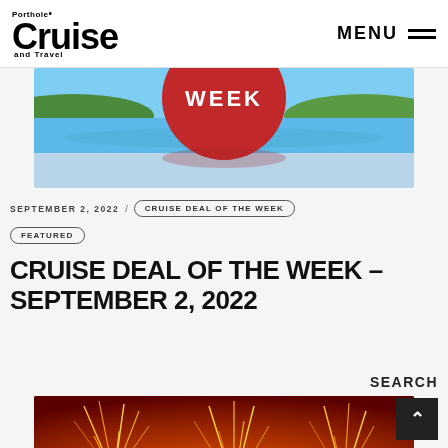Porthole Cruise and Travel — MENU
[Figure (photo): Tropical beach scene with a large red circular sign showing the word WEEK, blue ocean and green hills in background]
SEPTEMBER 2, 2022 / CRUISE DEAL OF THE WEEK
FEATURED
CRUISE DEAL OF THE WEEK – SEPTEMBER 2, 2022
SEARCH
[Figure (photo): Fireworks on a dark red/orange background, close-up of sparkler fireworks bursting]